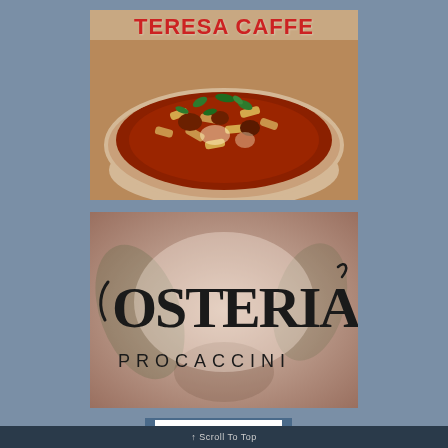[Figure (photo): Teresa Caffe logo/image: red bold text 'TERESA CAFFE' at top over a photo of a bowl of pasta (penne) with red tomato sauce, meat, and fresh basil leaves on a rustic white ceramic bowl.]
[Figure (logo): Osteria Procaccini logo: large stylized black lettering 'OSTERIA' with decorative flourishes and 'PROCACCINI' in spaced capitals below, on a muted earthy background with faded botanical imagery.]
[Figure (screenshot): Partial screenshot of a Princeton-related website with a white card and 'princeton...' partial text visible. Bottom bar shows 'Scroll To Top' in gray text on dark background.]
Scroll To Top